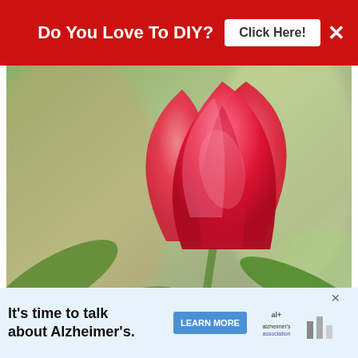[Figure (other): Red advertisement banner with text 'Do You Love To DIY?' and a 'Click Here!' button on white background, with an X close button]
[Figure (photo): Close-up photograph of a red/pink tulip flower with green leaves in the background. Watermark reads 'Exquisitely Unremarkable' in italic text at the bottom left.]
Hey! Before you go I want to share a few things I have learned about tulips over the years. I am by no means a master gardener, in fact, my husband frequently ra... the only
[Figure (other): Bottom advertisement banner for Alzheimer's awareness: 'It's time to talk about Alzheimer's.' with a LEARN MORE button and the Alzheimer's Association logo.]